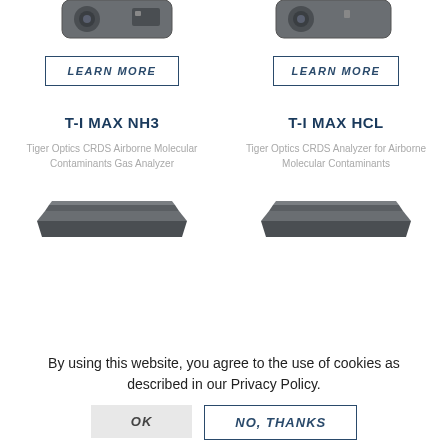[Figure (photo): Top portion of two product images partially visible at top of page]
LEARN MORE
LEARN MORE
T-I MAX NH3
T-I MAX HCL
Tiger Optics CRDS Airborne Molecular Contaminants Gas Analyzer
Tiger Optics CRDS Analyzer for Airborne Molecular Contaminants
[Figure (photo): T-I MAX NH3 device - flat dark rectangular analyzer unit]
[Figure (photo): T-I MAX HCL device - flat dark rectangular analyzer unit]
By using this website, you agree to the use of cookies as described in our Privacy Policy.
OK
NO, THANKS